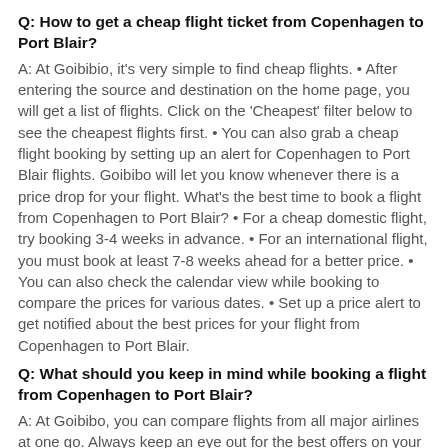Q: How to get a cheap flight ticket from Copenhagen to Port Blair?
A: At Goibibio, it's very simple to find cheap flights. • After entering the source and destination on the home page, you will get a list of flights. Click on the 'Cheapest' filter below to see the cheapest flights first. • You can also grab a cheap flight booking by setting up an alert for Copenhagen to Port Blair flights. Goibibo will let you know whenever there is a price drop for your flight. What's the best time to book a flight from Copenhagen to Port Blair? • For a cheap domestic flight, try booking 3-4 weeks in advance. • For an international flight, you must book at least 7-8 weeks ahead for a better price. • You can also check the calendar view while booking to compare the prices for various dates. • Set up a price alert to get notified about the best prices for your flight from Copenhagen to Port Blair.
Q: What should you keep in mind while booking a flight from Copenhagen to Port Blair?
A: At Goibibo, you can compare flights from all major airlines at one go. Always keep an eye out for the best offers on your Copenhagen to Port Blair flight. Plus, there are no hidden charges when you book a Copenhagen to Port Blair flight on Goibibo.